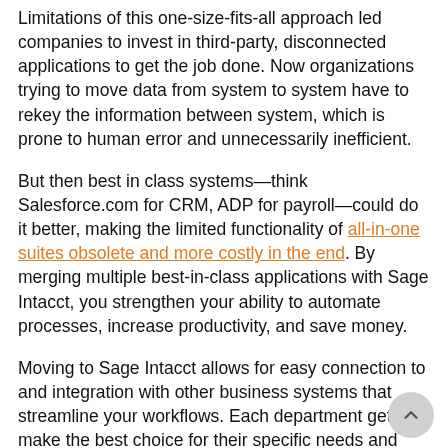Limitations of this one-size-fits-all approach led companies to invest in third-party, disconnected applications to get the job done. Now organizations trying to move data from system to system have to rekey the information between system, which is prone to human error and unnecessarily inefficient.
But then best in class systems—think Salesforce.com for CRM, ADP for payroll—could do it better, making the limited functionality of all-in-one suites obsolete and more costly in the end. By merging multiple best-in-class applications with Sage Intacct, you strengthen your ability to automate processes, increase productivity, and save money.
Moving to Sage Intacct allows for easy connection to and integration with other business systems that streamline your workflows. Each department gets to make the best choice for their specific needs and optimal performance. And, as is often the case with Sage Intacct, business